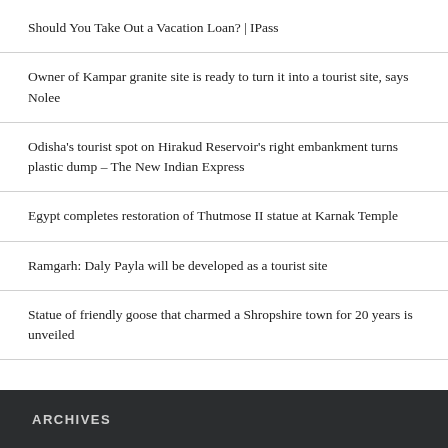Should You Take Out a Vacation Loan? | IPass
Owner of Kampar granite site is ready to turn it into a tourist site, says Nolee
Odisha's tourist spot on Hirakud Reservoir's right embankment turns plastic dump – The New Indian Express
Egypt completes restoration of Thutmose II statue at Karnak Temple
Ramgarh: Daly Payla will be developed as a tourist site
Statue of friendly goose that charmed a Shropshire town for 20 years is unveiled
ARCHIVES